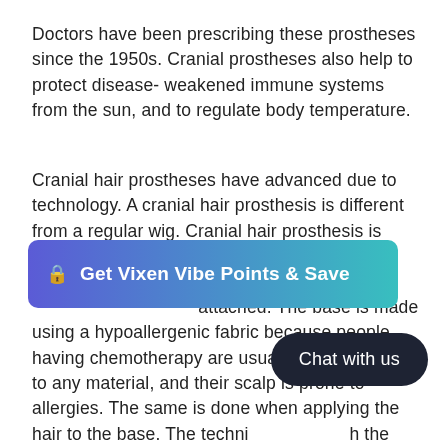Doctors have been prescribing these prostheses since the 1950s. Cranial prostheses also help to protect disease-weakened immune systems from the sun, and to regulate body temperature.
Cranial hair prostheses have advanced due to technology. A cranial hair prosthesis is different from a regular wig. Cranial hair prosthesis is done in several steps that include the taking [of measurements to ensure a] perfect fit. The [hair strands are individually] attached. The base is made using a hypoallergenic fabric because people having chemotherapy are usually very sensitive to any material, and their scalp is prone to allergies. The same is done when applying the hair to the base. The techni[que used to attac]h the hair is focused on avoiding that the[y touch t]he scalp. If you are in the San Diego, CA area, we, will create a [mold for a perfect/custom-fit to the cranial of...
[Figure (other): Promotional button overlay with gradient from blue to teal, containing a lock icon and text 'Get Vixen Vibe Points & Save']
[Figure (other): Dark rounded pill-shaped chat button with text 'Chat with us']